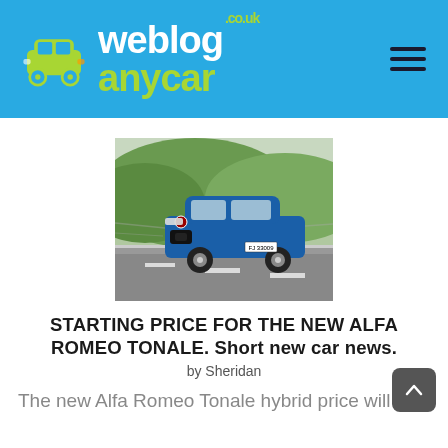weblog anycar .co.uk
[Figure (photo): Blue Alfa Romeo Tonale hybrid SUV driving on a road with green hills in the background]
STARTING PRICE FOR THE NEW ALFA ROMEO TONALE. Short new car news.
by Sheridan
The new Alfa Romeo Tonale hybrid price will